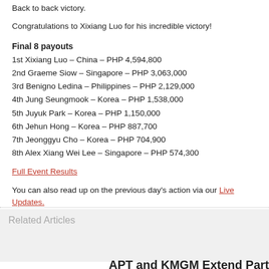Back to back victory.
Congratulations to Xixiang Luo for his incredible victory!
Final 8 payouts
1st Xixiang Luo – China – PHP 4,594,800
2nd Graeme Siow – Singapore – PHP 3,063,000
3rd Benigno Ledina – Philippines – PHP 2,129,000
4th Jung Seungmook – Korea – PHP 1,538,000
5th Juyuk Park – Korea – PHP 1,150,000
6th Jehun Hong – Korea – PHP 887,700
7th Jeonggyu Cho – Korea – PHP 704,900
8th Alex Xiang Wei Lee – Singapore – PHP 574,300
Full Event Results
You can also read up on the previous day's action via our Live Updates.
Related Articles
APT and KMGM Extend Part